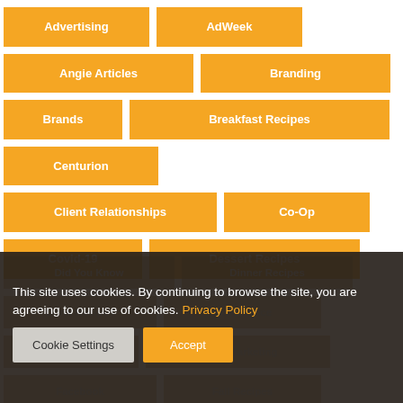Advertising
AdWeek
Angie Articles
Branding
Brands
Breakfast Recipes
Centurion
Client Relationships
Co-Op
Covid-19
Dessert Recipes
Did You Know
Dinner Recipes
Drink Recipes
Ecommerce
Facebook
Fall Recipes
This site uses cookies. By continuing to browse the site, you are agreeing to our use of cookies. Privacy Policy
Cookie Settings | Accept